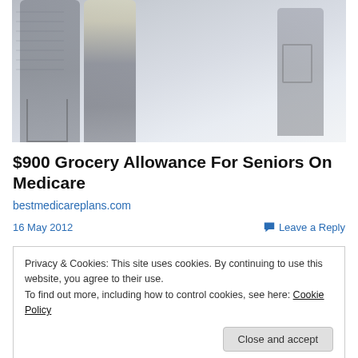[Figure (photo): Blurry/faded photo of elderly people shopping in a grocery store with shopping carts, viewed from behind.]
$900 Grocery Allowance For Seniors On Medicare
bestmedicareplans.com
16 May 2012
Leave a Reply
Privacy & Cookies: This site uses cookies. By continuing to use this website, you agree to their use.
To find out more, including how to control cookies, see here: Cookie Policy